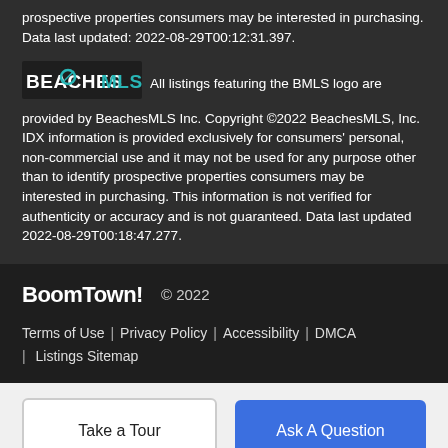prospective properties consumers may be interested in purchasing. Data last updated: 2022-08-29T00:12:31.397.
All listings featuring the BMLS logo are provided by BeachesMLS Inc. Copyright ©2022 BeachesMLS, Inc. IDX information is provided exclusively for consumers' personal, non-commercial use and it may not be used for any purpose other than to identify prospective properties consumers may be interested in purchasing. This information is not verified for authenticity or accuracy and is not guaranteed. Data last updated 2022-08-29T00:18:47.277.
BoomTown! © 2022
Terms of Use | Privacy Policy | Accessibility | DMCA | Listings Sitemap
Take a Tour
Ask A Question